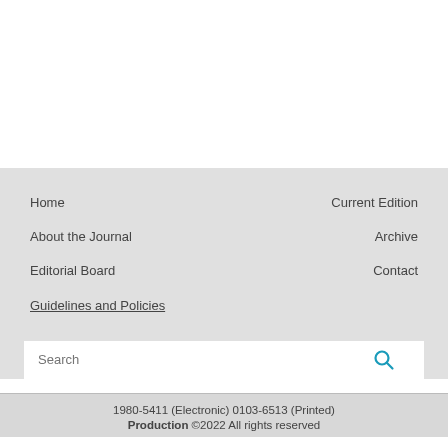Home | About the Journal | Editorial Board | Guidelines and Policies | Current Edition | Archive | Contact
Search
1980-5411 (Electronic) 0103-6513 (Printed)
Production ©2022 All rights reserved